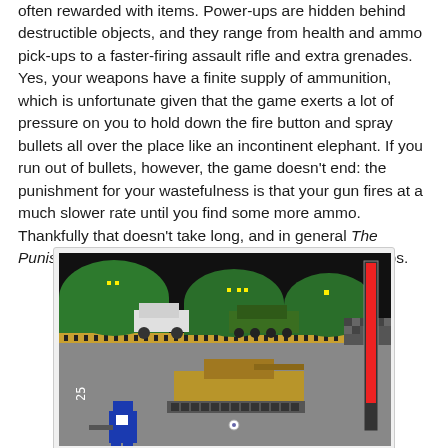often rewarded with items. Power-ups are hidden behind destructible objects, and they range from health and ammo pick-ups to a faster-firing assault rifle and extra grenades. Yes, your weapons have a finite supply of ammunition, which is unfortunate given that the game exerts a lot of pressure on you to hold down the fire button and spray bullets all over the place like an incontinent elephant. If you run out of bullets, however, the game doesn't end: the punishment for your wastefulness is that your gun fires at a much slower rate until you find some more ammo. Thankfully that doesn't take long, and in general The Punisher is pretty generous when it comes to power-ups.
[Figure (screenshot): A retro-style video game screenshot showing a military scene. In the background there are green dome-shaped bunkers/hangars with small yellow lights. A white vehicle (jeep or truck) is visible near the structures along with what appears to be a green armored vehicle. The lower portion shows a gray ground area with a tan/gold tank in the middle. A blue character (the player) is visible in the lower left area and a small circular object is in the center. A red vertical health/ammo bar is on the right side. A numeric indicator '25' appears on the left side.]